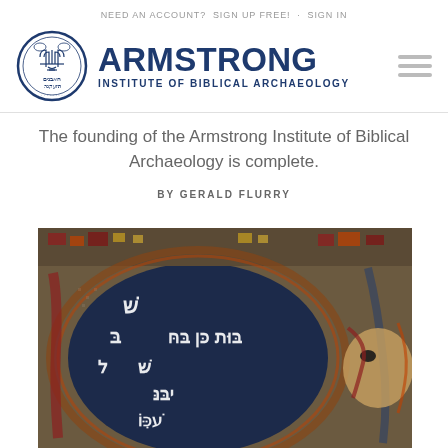NEED AN ACCOUNT?  SIGN UP FREE!  ·  SIGN IN
[Figure (logo): Armstrong Institute of Biblical Archaeology logo — circular seal with menorah and Hebrew text, alongside bold text 'ARMSTRONG' and subtitle 'INSTITUTE OF BIBLICAL ARCHAEOLOGY', with hamburger menu icon]
The founding of the Armstrong Institute of Biblical Archaeology is complete.
BY GERALD FLURRY
[Figure (photo): Close-up photograph of an ancient mosaic with Hebrew inscriptions in white on dark blue background, with colorful mosaic border details including red, blue and gold tesserae, and a partial figure visible on the right edge]